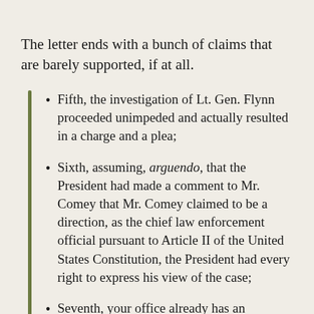The letter ends with a bunch of claims that are barely supported, if at all.
Fifth, the investigation of Lt. Gen. Flynn proceeded unimpeded and actually resulted in a charge and a plea;
Sixth, assuming, arguendo, that the President had made a comment to Mr. Comey that Mr. Comey claimed to be a direction, as the chief law enforcement official pursuant to Article II of the United States Constitution, the President had every right to express his view of the case;
Seventh, your office already has an